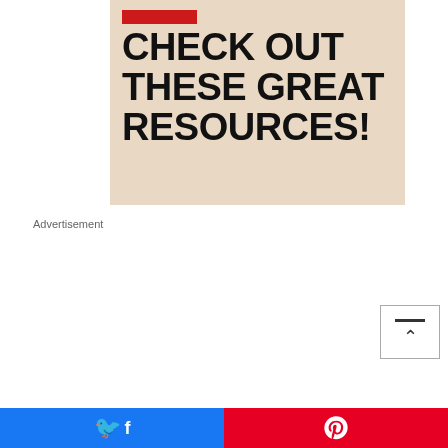[Figure (illustration): Promotional banner with tan/beige background, red horizontal bar at top-left, and bold black uppercase text reading 'CHECK OUT THESE GREAT RESOURCES!']
Advertisement
[Figure (screenshot): Advertisement box with red border. Bold text: 'For Catholics Who Lo Their Faith'. Below: newspaper image labeled 'OUR SUNDAY VISITOR' with 'Meet the' text and a red circular element with 'Spec pricing']